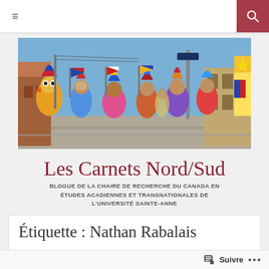≡   [search icon]
[Figure (photo): Outdoor carnival/Mardi Gras parade scene with people in colorful costumes wearing masks and carrying decorated flags, photographed on a sunny street.]
Les Carnets Nord/Sud
BLOGUE DE LA CHAIRE DE RECHERCHE DU CANADA EN ÉTUDES ACADIENNES ET TRANSNATIONALES DE L'UNIVERSITÉ SAINTE-ANNE
Étiquette : Nathan Rabalais
Suivre ...